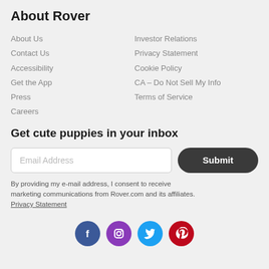About Rover
About Us
Contact Us
Accessibility
Get the App
Press
Careers
Investor Relations
Privacy Statement
Cookie Policy
CA – Do Not Sell My Info
Terms of Service
Get cute puppies in your inbox
By providing my e-mail address, I consent to receive marketing communications from Rover.com and its affiliates. Privacy Statement
[Figure (infographic): Social media icons for Facebook, Instagram, Twitter, and Pinterest]